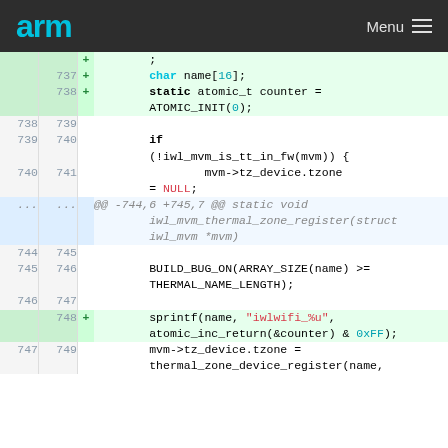arm  Menu
[Figure (screenshot): Code diff view showing lines 737-749 of a C kernel source file with added lines (green), context lines, and a hunk header. ARM logo header at top.]